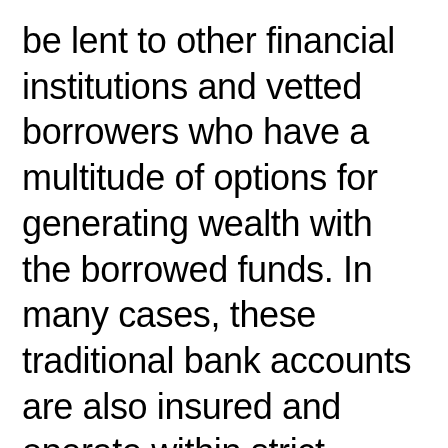be lent to other financial institutions and vetted borrowers who have a multitude of options for generating wealth with the borrowed funds. In many cases, these traditional bank accounts are also insured and operate within strict regulatory guidelines and limitations on the collateral percentage, number of parties, among other restrictions for and to which the deposited assets can be